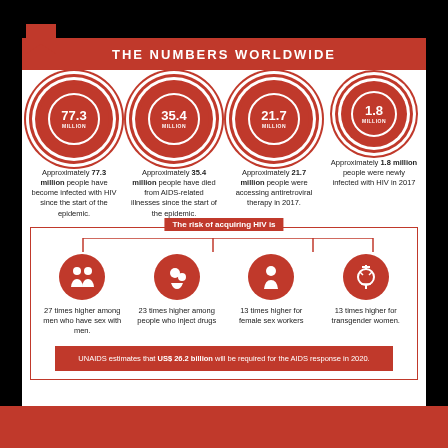THE NUMBERS WORLDWIDE
Approximately 77.3 million people have become infected with HIV since the start of the epidemic.
Approximately 35.4 million people have died from AIDS-related illnesses since the start of the epidemic.
Approximately 21.7 million people were accessing antiretroviral therapy in 2017.
Approximately 1.8 million people were newly infected with HIV in 2017
The risk of acquiring HIV is
27 times higher among men who have sex with men.
23 times higher among people who inject drugs
13 times higher for female sex workers
13 times higher for transgender women.
UNAIDS estimates that US$ 26.2 billion will be required for the AIDS response in 2020.